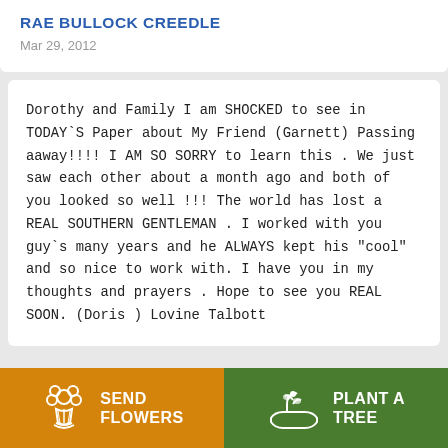RAE BULLOCK CREEDLE
Mar 29, 2012
Dorothy and Family I am SHOCKED to see in TODAY`S Paper about My Friend (Garnett) Passing aaway!!!! I AM SO SORRY to learn this . We just saw each other about a month ago and both of you looked so well !!! The world has lost a REAL SOUTHERN GENTLEMAN . I worked with you guy`s many years and he ALWAYS kept his "cool" and so nice to work with. I have you in my thoughts and prayers . Hope to see you REAL SOON. (Doris ) Lovine Talbott
[Figure (illustration): Orange button with flower bouquet icon and text SEND FLOWERS]
[Figure (illustration): Green button with plant/tree icon and text PLANT A TREE]